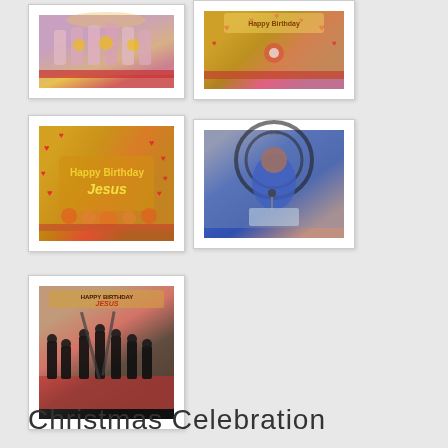[Figure (photo): Group of performers in pink/gold dresses on stage with floral decorations, arms raised]
[Figure (photo): Happy Birthday Jesus banner with heart decorations and performers on stage]
[Figure (photo): Happy Birthday Jesus golden decorative display with heart and floral ornaments]
[Figure (photo): Woman in blue dress speaking at a podium/lectern on stage]
[Figure (photo): Performers in black outfits doing acrobatic performance on stage with Happy Birthday Jesus banner]
Christmas Celebration